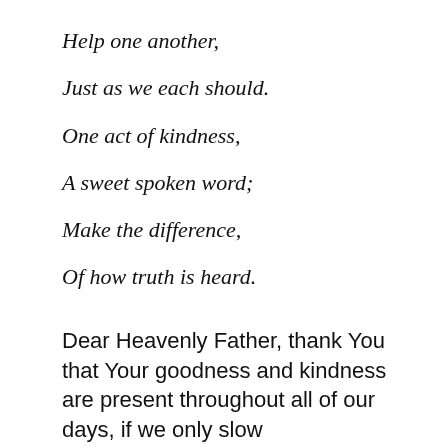Help one another,
Just as we each should.
One act of kindness,
A sweet spoken word;
Make the difference,
Of how truth is heard.
Dear Heavenly Father, thank You that Your goodness and kindness are present throughout all of our days, if we only slow